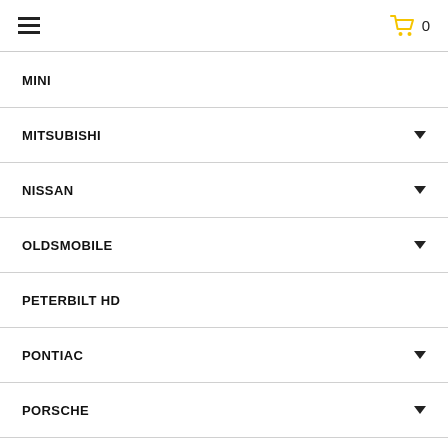Menu | Cart 0
MINI
MITSUBISHI
NISSAN
OLDSMOBILE
PETERBILT HD
PONTIAC
PORSCHE
PROMASTER 1500
PROMASTER 2500